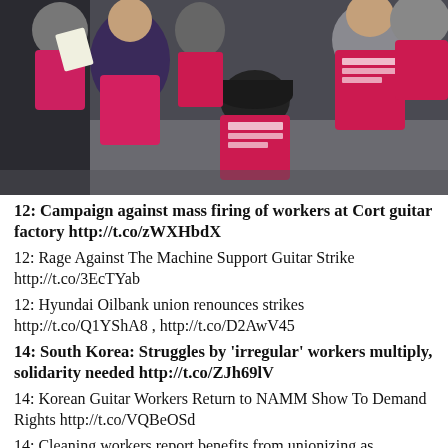[Figure (photo): Workers wearing red/pink vests with Korean text, gathered together in what appears to be a protest or labor action scene.]
12: Campaign against mass firing of workers at Cort guitar factory http://t.co/zWXHbdX
12: Rage Against The Machine Support Guitar Strike http://t.co/3EcTYab
12: Hyundai Oilbank union renounces strikes http://t.co/Q1YShA8 , http://t.co/D2AwV45
14: South Korea: Struggles by 'irregular' workers multiply, solidarity needed http://t.co/ZJh69lV
14: Korean Guitar Workers Return to NAMM Show To Demand Rights http://t.co/VQBeOSd
14: Cleaning workers report benefits from unionizing as